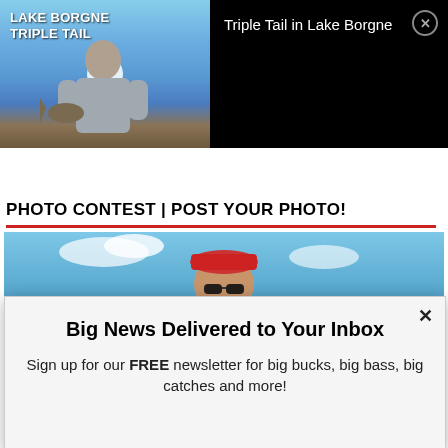[Figure (screenshot): Video thumbnail showing man holding fish, labeled LAKE BORGNE TRIPLE TAIL, with play button overlay]
Triple Tail in Lake Borgne
[Figure (photo): Member banner with MEMBER text in large italic letters]
PHOTO CONTEST | POST YOUR PHOTO!
[Figure (photo): Photo showing man in cap and sunglasses against blue sky background]
Big News Delivered to Your Inbox
Sign up for our FREE newsletter for big bucks, big bass, big catches and more!